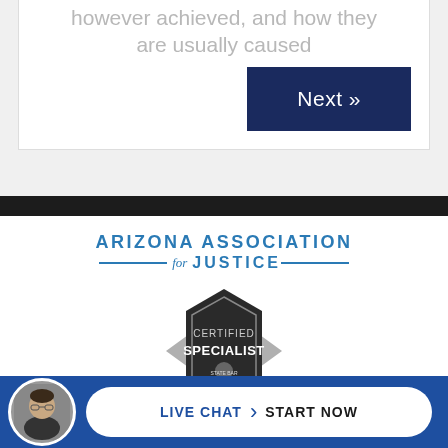however achieved, and how they are usually caused
[Figure (other): Dark navy blue 'Next »' button]
[Figure (logo): Arizona Association for Justice logo with blue text and decorative lines]
[Figure (other): Certified Specialist badge - dark hexagonal badge with 'CERTIFIED SPECIALIST' text, State Bar of Arizona seal, Personal Injury/Wrongful Death text]
[Figure (other): Live Chat - Start Now button bar with attorney photo, on blue background]